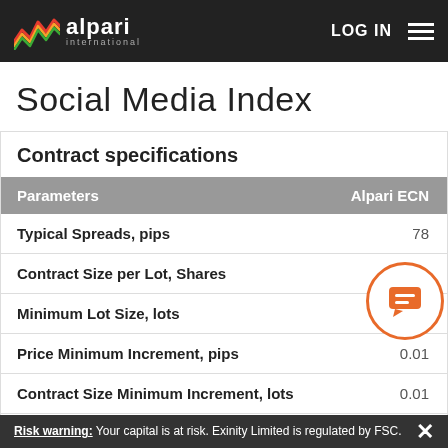alpari international | LOG IN
Social Media Index
Contract specifications
| Parameters | Alpari ECN |
| --- | --- |
| Typical Spreads, pips | 78 |
| Contract Size per Lot, Shares | 100 |
| Minimum Lot Size, lots | 0.01 |
| Price Minimum Increment, pips | 0.01 |
| Contract Size Minimum Increment, lots | 0.01 |
| Hedged Margin, % | 50 |
Risk warning: Your capital is at risk. Exinity Limited is regulated by FSC.